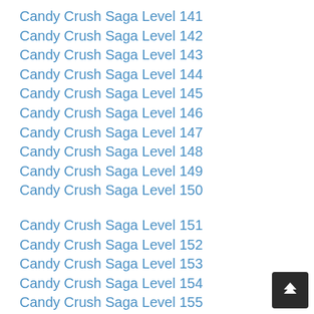Candy Crush Saga Level 141
Candy Crush Saga Level 142
Candy Crush Saga Level 143
Candy Crush Saga Level 144
Candy Crush Saga Level 145
Candy Crush Saga Level 146
Candy Crush Saga Level 147
Candy Crush Saga Level 148
Candy Crush Saga Level 149
Candy Crush Saga Level 150
Candy Crush Saga Level 151
Candy Crush Saga Level 152
Candy Crush Saga Level 153
Candy Crush Saga Level 154
Candy Crush Saga Level 155
Candy Crush Saga Level 156
Candy Crush Saga Level 157
Candy Crush Saga Level 158